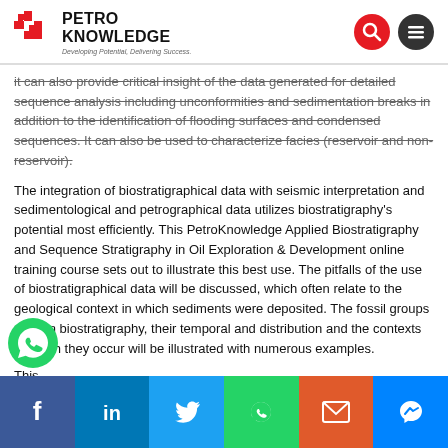PETRO KNOWLEDGE — Developing Potential, Delivering Success.
it can also provide critical insight of the data generated for detailed sequence analysis including unconformities and sedimentation breaks in addition to the identification of flooding surfaces and condensed sequences. It can also be used to characterize facies (reservoir and non-reservoir).
The integration of biostratigraphical data with seismic interpretation and sedimentological and petrographical data utilizes biostratigraphy's potential most efficiently. This PetroKnowledge Applied Biostratigraphy and Sequence Stratigraphy in Oil Exploration & Development online training course sets out to illustrate this best use. The pitfalls of the use of biostratigraphical data will be discussed, which often relate to the geological context in which sediments were deposited. The fossil groups used in biostratigraphy, their temporal and distribution and the contexts in which they occur will be illustrated with numerous examples.
This
[Figure (other): Social share bar with Facebook, LinkedIn, Twitter, WhatsApp, Email, and Messenger buttons]
[Figure (other): Green WhatsApp floating button]